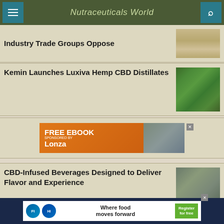Nutraceuticals World
Industry Trade Groups Oppose
[Figure (photo): Shelves of supplement products in a store]
Kemin Launches Luxiva Hemp CBD Distillates
[Figure (photo): Green hemp/cannabis leaves close-up]
[Figure (photo): Advertisement banner: FREE EBOOK Sponsored by Lonza]
CBD-Infused Beverages Designed to Deliver Flavor and Experience
[Figure (photo): Person in red cap outdoors holding something]
[Figure (photo): Advertisement: FI/HI Health Ingredients logo - Where food moves forward, Register for free]